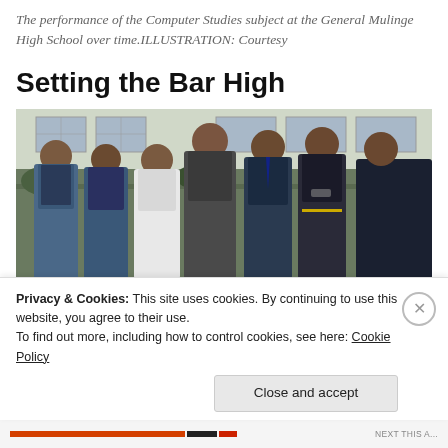The performance of the Computer Studies subject at the General Mulinge High School over time.ILLUSTRATION: Courtesy
Setting the Bar High
[Figure (photo): Group photo of six students and a teacher standing outside a school building. Students wearing blue school uniforms with sweater vests. One adult male in dark clothing stands in the center.]
Privacy & Cookies: This site uses cookies. By continuing to use this website, you agree to their use.
To find out more, including how to control cookies, see here: Cookie Policy
Close and accept